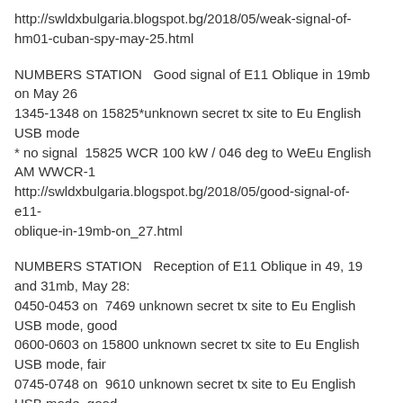http://swldxbulgaria.blogspot.bg/2018/05/weak-signal-of-hm01-cuban-spy-may-25.html
NUMBERS STATION   Good signal of E11 Oblique in 19mb on May 26
1345-1348 on 15825*unknown secret tx site to Eu English USB mode
* no signal  15825 WCR 100 kW / 046 deg to WeEu English AM WWCR-1
http://swldxbulgaria.blogspot.bg/2018/05/good-signal-of-e11-oblique-in-19mb-on_27.html
NUMBERS STATION   Reception of E11 Oblique in 49, 19 and 31mb, May 28:
0450-0453 on  7469 unknown secret tx site to Eu English USB mode, good
0600-0603 on 15800 unknown secret tx site to Eu English USB mode, fair
0745-0748 on  9610 unknown secret tx site to Eu English USB mode, good
http://swldxbulgaria.blogspot.bg/2018/05/reception-of-e11-oblique-in-49-19-and.html